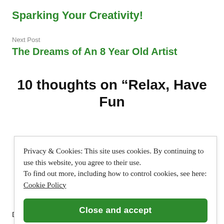Sparking Your Creativity!
Next Post
The Dreams of An 8 Year Old Artist
10 thoughts on “Relax, Have Fun
Privacy & Cookies: This site uses cookies. By continuing to use this website, you agree to their use.
To find out more, including how to control cookies, see here: Cookie Policy
Close and accept
Debi!